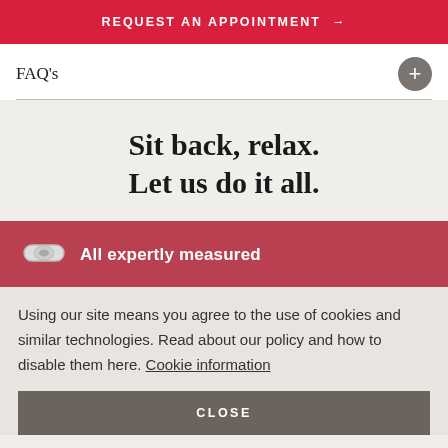REQUEST AN APPOINTMENT →
FAQ's
Sit back, relax. Let us do it all.
All expertly measured
Using our site means you agree to the use of cookies and similar technologies. Read about our policy and how to disable them here. Cookie information
CLOSE